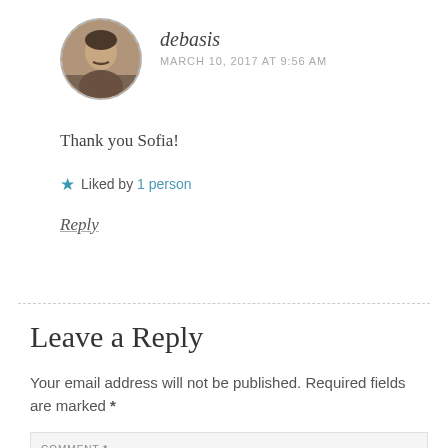[Figure (photo): Circular avatar photo of a man with a mustache, with a dashed circular border]
debasis
MARCH 10, 2017 AT 9:56 AM
Thank you Sofia!
Liked by 1 person
Reply
Leave a Reply
Your email address will not be published. Required fields are marked *
COMMENT *